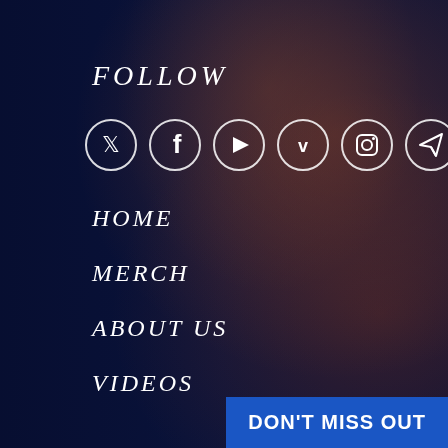[Figure (photo): Dark blue-tinted crowd of sports fans at a stadium, with orange and blue colors visible through a dark navy overlay]
FOLLOW
[Figure (infographic): Row of 6 circular social media icon buttons: Twitter, Facebook, YouTube, Vimeo, Instagram, Telegram/Send]
HOME
MERCH
ABOUT US
VIDEOS
BLOG
FORUM
OART
DON'T MISS OUT